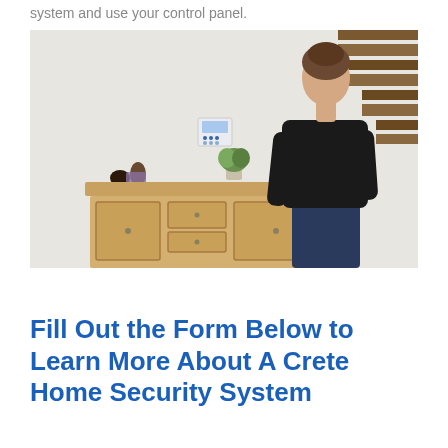system and use your control panel.
[Figure (photo): A woman in a black top and jeans leaning against a wooden dresser/sideboard in a home interior. A security control panel is mounted on the white wall behind her. Decorative items and a plant sit on top of the dresser. A staircase is visible in the upper right.]
Fill Out the Form Below to Learn More About A Crete Home Security System